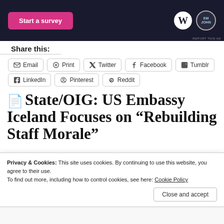[Figure (screenshot): Dark advertisement banner with a pink 'Start a survey' button on the left and WordPress and another logo on the right.]
Share this:
Email
Print
Twitter
Facebook
Tumblr
LinkedIn
Pinterest
Reddit
State/OIG: US Embassy Iceland Focuses on “Rebuilding Staff Morale”
Privacy & Cookies: This site uses cookies. By continuing to use this website, you agree to their use.
To find out more, including how to control cookies, see here: Cookie Policy